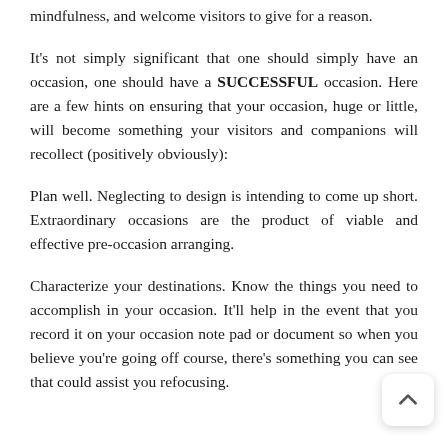mindfulness, and welcome visitors to give for a reason.
It's not simply significant that one should simply have an occasion, one should have a SUCCESSFUL occasion. Here are a few hints on ensuring that your occasion, huge or little, will become something your visitors and companions will recollect (positively obviously):
Plan well. Neglecting to design is intending to come up short. Extraordinary occasions are the product of viable and effective pre-occasion arranging.
Characterize your destinations. Know the things you need to accomplish in your occasion. It'll help in the event that you record it on your occasion note pad or document so when you believe you're going off course, there's something you can see that could assist you refocusing.